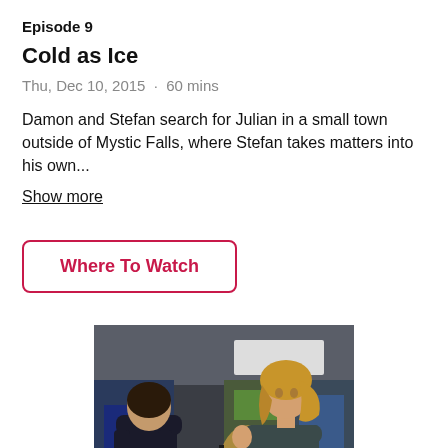Episode 9
Cold as Ice
Thu, Dec 10, 2015  ·  60 mins
Damon and Stefan search for Julian in a small town outside of Mystic Falls, where Stefan takes matters into his own...
Show more
Where To Watch
[Figure (photo): Two people standing and facing each other in conversation, one with dark hair seen from behind, one with blonde hair facing the viewer, in a dimly lit indoor setting with colorful background elements.]